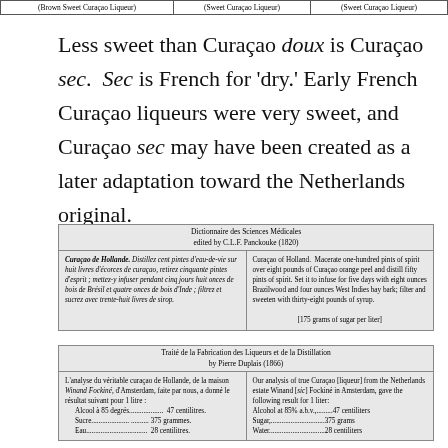| (Brown Sweet Curaçao Liqueur) | (Sweet Curaçao Liqueur) | (Sweet Curaçao Liqueur) |
| --- | --- | --- |
Less sweet than Curaçao doux is Curaçao sec. Sec is French for 'dry.' Early French Curaçao liqueurs were very sweet, and Curaçao sec may have been created as a later adaptation toward the Netherlands original.
| Dictionnaire des Sciences Médicales edited by C.L.F. Panckouke (1820) |
| --- |
| Curaçao de Hollande. Distillez cent pintes d'eau-de-vie sur huit livres d'écorces de curaçao, retirez cinquante pintes d'esprit ; mettez-y infuser pendant cinq jours huit onces de bois de Brésil et quatre onces de bois d'Inde ; filtrez et sucrez avec trente-huit livres de sirop. | Curaçao of Holland. Macerate one-hundred pints of spirit over eight pounds of Curaçao orange peel and distill fifty pints of spirit. Set it to infuse for five days with eight ounces Brazilwood and four ounces West Indies bay bark; filter and sweeten with thirty-eight pounds of syrup.
[175 grams of sugar per liter] |
| Traité de la Fabrication des Liqueurs et de la Distillation by Pierre Duplais (1866) |
| --- |
| L'analyse du véritable curaçao de Hollande, de la maison Winand Fockiné, d'Amsterdam, faite par nous, a donné le résultat suivant pour 1 litre :
  Alcool à 85 degrés................ 47 centilitres.
  Sucre............................ 375 grammes.
  Eau.............................. 28 centilitres. | Our analysis of true Curaçao [liqueur] from the Netherlands estate Winand [sic] Fockiné in Amsterdam, gave the following result for 1 liter:
Alcohol at 85% a.b.v.,........47 centiliters
Sugar,..........................375 grams
Water...........................28 centiliters |